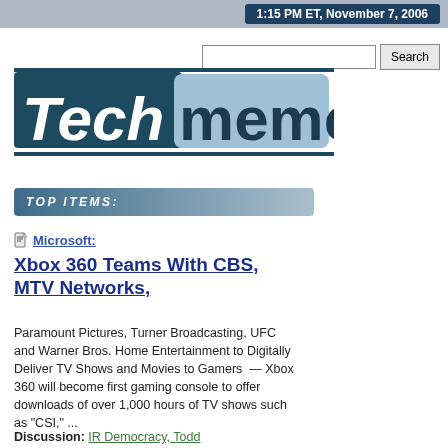1:15 PM ET, November 7, 2006
[Figure (logo): Techmeme logo — 'Tech' in white italic on dark teal background, 'meme' in dark teal on light blue background, horizontal bar design]
TOP ITEMS:
Microsoft:
Xbox 360 Teams With CBS, MTV Networks,
Paramount Pictures, Turner Broadcasting, UFC and Warner Bros. Home Entertainment to Digitally Deliver TV Shows and Movies to Gamers  —  Xbox 360 will become first gaming console to offer downloads of over 1,000 hours of TV shows such as "CSI," ...
Discussion:  IR Democracy, Todd